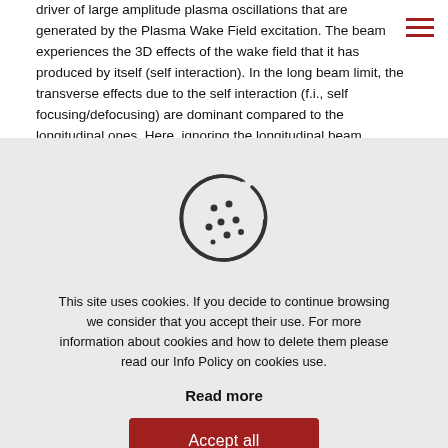driver of large amplitude plasma oscillations that are generated by the Plasma Wake Field excitation. The beam experiences the 3D effects of the wake field that it has produced by itself (self interaction). In the long beam limit, the transverse effects due to the self interaction (f.i., self focusing/defocusing) are dominant compared to the longitudinal ones. Here, ignoring the longitudinal beam dynamics, a theoretical investigation of the quantum
[Figure (illustration): Cookie icon: a round cookie with a bite taken out and chocolate chip dots]
This site uses cookies. If you decide to continue browsing we consider that you accept their use. For more information about cookies and how to delete them please read our Info Policy on cookies use.
Read more
Accept all